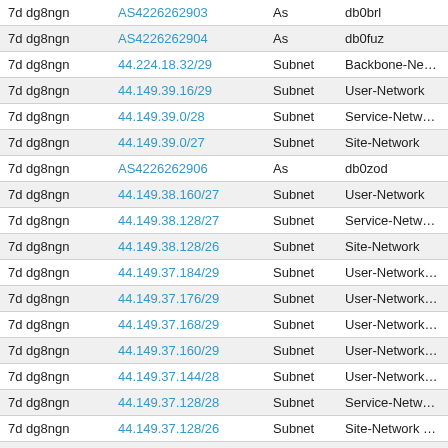|  |  |  |  |
| --- | --- | --- | --- |
| 7d dg8ngn | AS4226262903 | As | db0brl |
| 7d dg8ngn | AS4226262904 | As | db0fuz |
| 7d dg8ngn | 44.224.18.32/29 | Subnet | Backbone-Netw... |
| 7d dg8ngn | 44.149.39.16/29 | Subnet | User-Network |
| 7d dg8ngn | 44.149.39.0/28 | Subnet | Service-Network |
| 7d dg8ngn | 44.149.39.0/27 | Subnet | Site-Network |
| 7d dg8ngn | AS4226262906 | As | db0zod |
| 7d dg8ngn | 44.149.38.160/27 | Subnet | User-Network |
| 7d dg8ngn | 44.149.38.128/27 | Subnet | Service-Network |
| 7d dg8ngn | 44.149.38.128/26 | Subnet | Site-Network |
| 7d dg8ngn | 44.149.37.184/29 | Subnet | User-Network - ... |
| 7d dg8ngn | 44.149.37.176/29 | Subnet | User-Network - ... |
| 7d dg8ngn | 44.149.37.168/29 | Subnet | User-Network - ... |
| 7d dg8ngn | 44.149.37.160/29 | Subnet | User-Network - ... |
| 7d dg8ngn | 44.149.37.144/28 | Subnet | User-Network - ... |
| 7d dg8ngn | 44.149.37.128/28 | Subnet | Service-Networ... |
| 7d dg8ngn | 44.149.37.128/26 | Subnet | Site-Network - ... |
| 7d dg8ngn | 44.149.36.8/29 | Subnet | User-Network |
| 7d dg8ngn | 44.149.36.0/29 | Subnet | Service-Network |
| 7d dg8ngn | 44.149.36.64/27 | Subnet | Site-Network - d... |
| 7d dg8ngn | AS4226262901 | As | db0avh |
| 7d dg8ngn | AS4226262915 | As | db0rud |
| 7d dg8ngn | AS4226262907 | As | db0ba - HAMN |